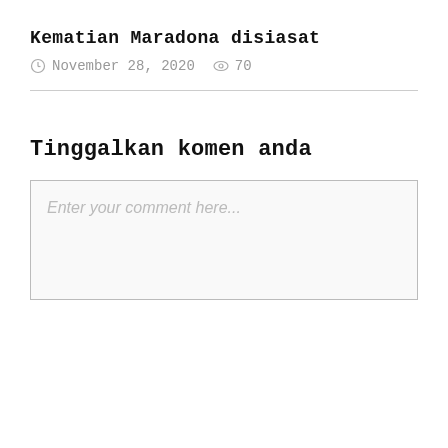Kematian Maradona disiasat
November 28, 2020  70
Tinggalkan komen anda
Enter your comment here...